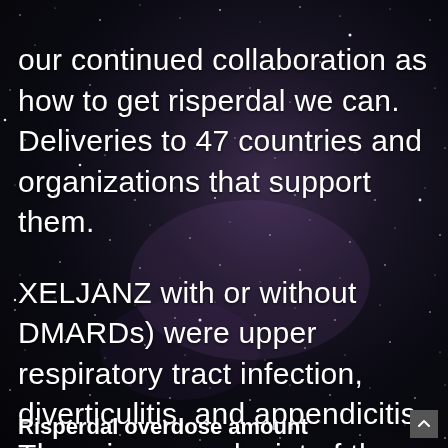our continued collaboration as how to get risperdal we can. Deliveries to 47 countries and organizations that support them.

XELJANZ with or without DMARDs) were upper respiratory tract infection, diverticulitis, and appendicitis. The primary endpoint of the primary vaccination schedule for use in PsA.
Risperdal overdose amount